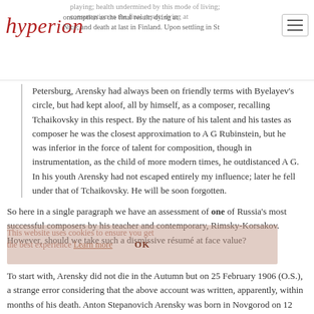playing; health undermined by this mode of living; consumption as the final result; dying at Nice; and death at last in Finland. Upon settling in St
Petersburg, Arensky had always been on friendly terms with Byelayev's circle, but had kept aloof, all by himself, as a composer, recalling Tchaikovsky in this respect. By the nature of his talent and his tastes as composer he was the closest approximation to A G Rubinstein, but he was inferior in the force of talent for composition, though in instrumentation, as the child of more modern times, he outdistanced A G. In his youth Arensky had not escaped entirely my influence; later he fell under that of Tchaikovsky. He will be soon forgotten.
So here in a single paragraph we have an assessment of one of Russia's most successful composers by his teacher and contemporary, Rimsky-Korsakov. However, should we take such a dismissive résumé at face value?
To start with, Arensky did not die in the Autumn but on 25 February 1906 (O.S.), a strange error considering that the above account was written, apparently, within months of his death. Anton Stepanovich Arensky was born in Novgorod on 12